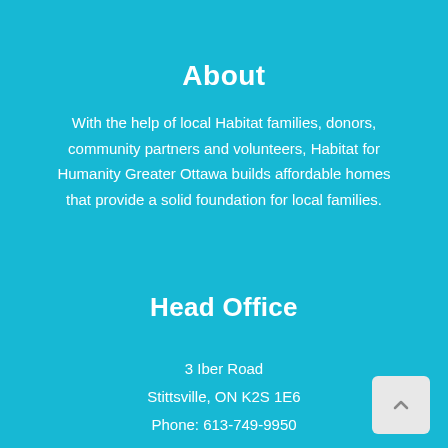About
With the help of local Habitat families, donors, community partners and volunteers, Habitat for Humanity Greater Ottawa builds affordable homes that provide a solid foundation for local families.
Head Office
3 Iber Road
Stittsville, ON K2S 1E6
Phone: 613-749-9950